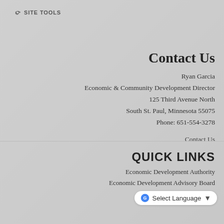SITE TOOLS
Contact Us
Ryan Garcia
Economic & Community Development Director
125 Third Avenue North
South St. Paul, Minnesota 55075
Phone: 651-554-3278
Contact Us
QUICK LINKS
Economic Development Authority
Economic Development Advisory Board
Resources for Startups